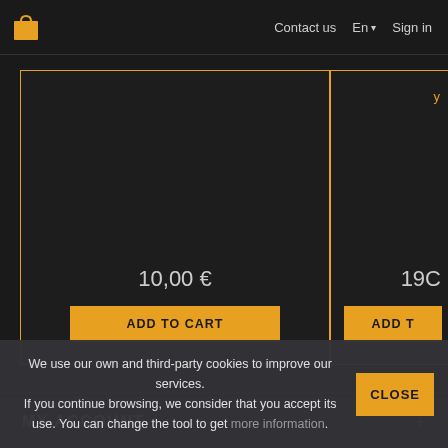Contact us  En  Sign in
[Figure (screenshot): E-commerce product cards on dark background. Left card shows price 10,00 € with orange ADD TO CART button, bordered in orange. Right card (partially visible) shows price 190 with orange ADD T button, bordered in orange.]
MY ACCOUNT +
INFORMATION +
We use our own and third-party cookies to improve our services. If you continue browsing, we consider that you accept its use. You can change the tool to get more information.